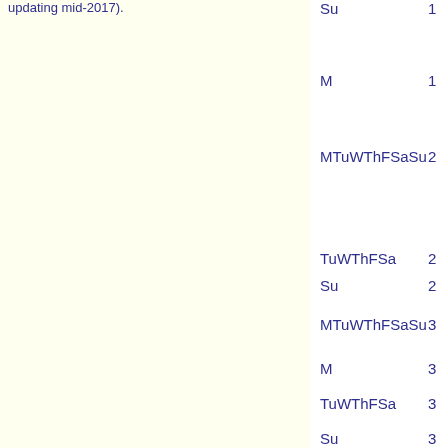updating mid-2017).
Su  1
M  1
MTuWThFSaSu  2
TuWThFSa  2
Su  2
MTuWThFSaSu  3
M  3
TuWThFSa  3
Su  3
M  3
MTuWThFSaSu  4
M  4